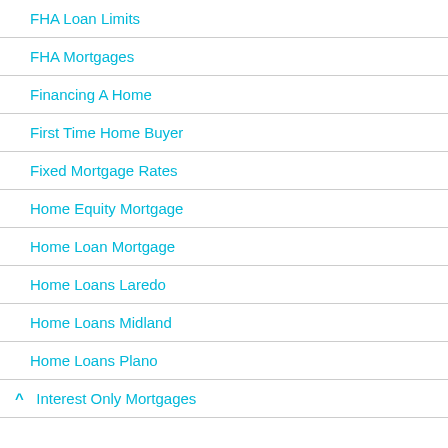FHA Loan Limits
FHA Mortgages
Financing A Home
First Time Home Buyer
Fixed Mortgage Rates
Home Equity Mortgage
Home Loan Mortgage
Home Loans Laredo
Home Loans Midland
Home Loans Plano
^ Interest Only Mortgages